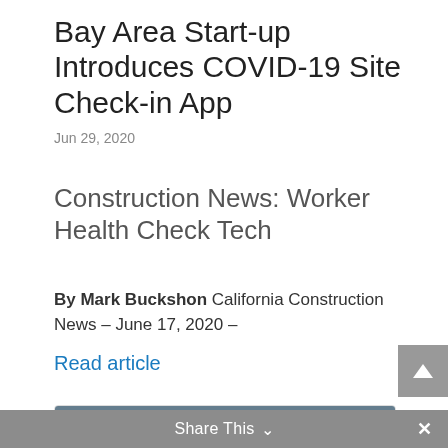Bay Area Start-up Introduces COVID-19 Site Check-in App
Jun 29, 2020
Construction News: Worker Health Check Tech
By Mark Buckshon California Construction News – June 17, 2020 –
Read article
[Figure (screenshot): App screenshot showing 'Safe Site Check In' header with a progress bar showing Jobsite step as completed and steps 2, 3, 4 ahead]
Share This